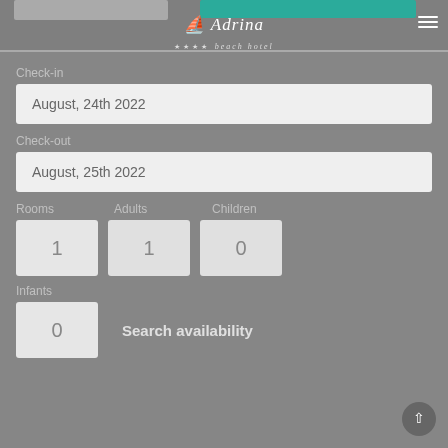Adrina beach hotel
Check-in
August, 24th 2022
Check-out
August, 25th 2022
Rooms	Adults	Children
1	1	0
Infants
0
Search availability